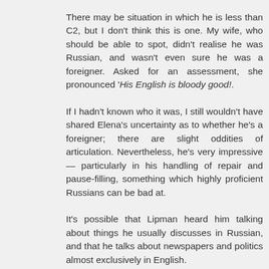There may be situation in which he is less than C2, but I don't think this is one. My wife, who should be able to spot, didn't realise he was Russian, and wasn't even sure he was a foreigner. Asked for an assessment, she pronounced 'His English is bloody good!.
If I hadn't known who it was, I still wouldn't have shared Elena's uncertainty as to whether he's a foreigner; there are slight oddities of articulation. Nevertheless, he's very impressive — particularly in his handling of repair and pause-filling, something which highly proficient Russians can be bad at.
It's possible that Lipman heard him talking about things he usually discusses in Russian, and that he talks about newspapers and politics almost exclusively in English.
I don't find the intonation particularly Russian.